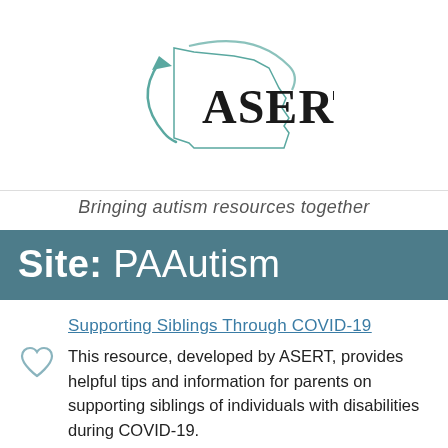[Figure (logo): ASERT logo with Pennsylvania state outline and teal swoosh graphic, text ASERT in bold serif font]
Bringing autism resources together
Site: PAAutism
Supporting Siblings Through COVID-19
This resource, developed by ASERT, provides helpful tips and information for parents on supporting siblings of individuals with disabilities during COVID-19.